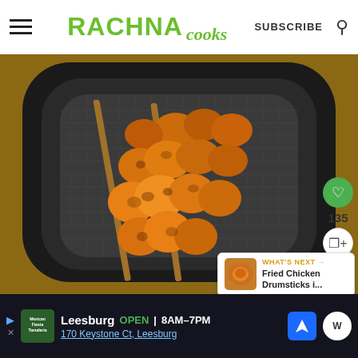RACHNA cooks — SUBSCRIBE
[Figure (photo): Air fryer basket with spiced chicken tikka skewers on wooden sticks, golden-brown marinated chicken pieces arranged in square air fryer basket viewed from above]
135
WHAT'S NEXT → Fried Chicken Drumsticks i...
Leesburg OPEN 8AM–7PM 170 Keystone Ct, Leesburg